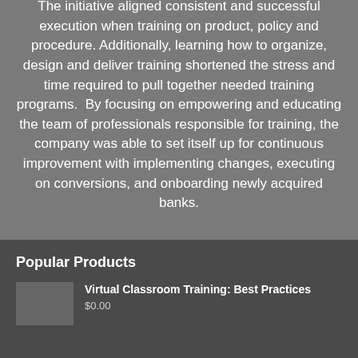The initiative aligned consistent and successful execution when training on product, policy and procedure. Additionally, learning how to organize, design and deliver training shortened the stress and time required to pull together needed training programs.  By focusing on empowering and educating the team of professionals responsible for training, the company was able to set itself up for continuous improvement with implementing changes, executing on conversions, and onboarding newly acquired banks.
Popular Products
Virtual Classroom Training: Best Practices
$0.00